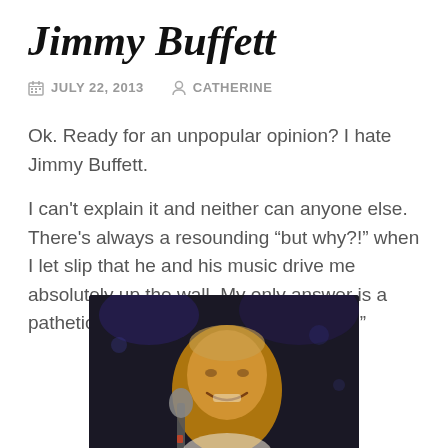Jimmy Buffett
JULY 22, 2013   CATHERINE
Ok. Ready for an unpopular opinion? I hate Jimmy Buffett.
I can't explain it and neither can anyone else. There's always a resounding “but why?!” when I let slip that he and his music drive me absolutely up the wall. My only answer is a pathetic yet indignant “I just don’t know.”
[Figure (photo): Photo of Jimmy Buffett smiling at a microphone on stage, dark background with stage lighting]